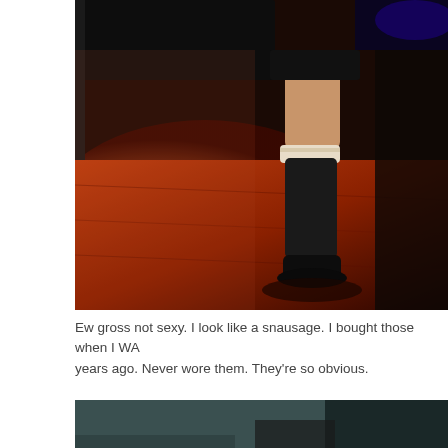[Figure (photo): Close-up photo of a person's leg wearing black thigh-high stockings with white lace trim at the top, a short black skirt, and black shoes, standing on a wooden floor with warm orange-red lighting and a counter or shelf visible in the background.]
Ew gross not sexy. I look like a snausage. I bought those when I WA years ago. Never wore them. They're so obvious.
[Figure (photo): Partial view of a dark room, appears to be interior space with teal/green walls and some furniture or equipment visible at the bottom of the frame.]